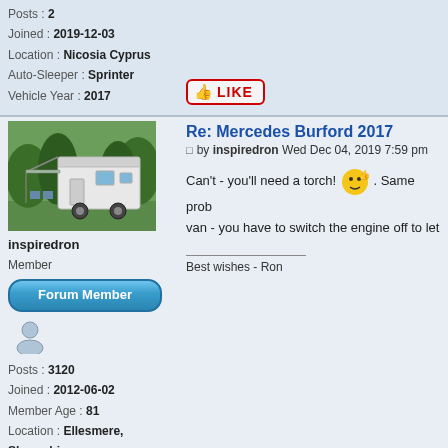Posts : 2
Joined : 2019-12-03
Location : Nicosia Cyprus
Auto-Sleeper : Sprinter
Vehicle Year : 2017
[Figure (other): LIKE button with thumbs up icon, red border text]
[Figure (photo): Photo of a white caravan/motorhome with awning extended, parked in a wooded area with camping chairs outside]
inspiredron
Member
[Figure (other): Forum Member badge button (blue gradient rounded rectangle)]
[Figure (other): User avatar icon (generic person silhouette)]
Posts : 3120
Joined : 2012-06-02
Member Age : 81
Location : Ellesmere, Shropshire
Auto-Sleeper : Lancashire
Vehicle Year : 2012
Re: Mercedes Burford 2017
by inspiredron Wed Dec 04, 2019 7:59 pm
Can't - you'll need a torch! 🤙. Same prob van - you have to switch the engine off to let
Best wishes - Ron